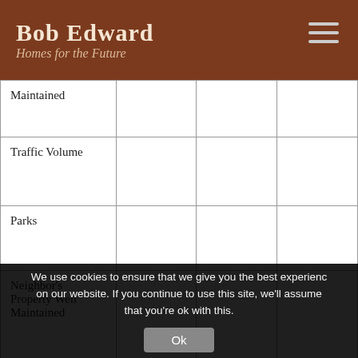Bob Edward Homes for the Future
|  |  |  |  |
| --- | --- | --- | --- |
| Maintained |  |  |  |
| Traffic Volume |  |  |  |
| Parks |  |  |  |
| Neighbor's Property Well Maintained |  |  |  |
| All Utilities |  |  |  |
| Installed |  |  |  |
| / Restrictions |  |  |  |
| Near Trains / |  |  |  |
We use cookies to ensure that we give you the best experience on our website. If you continue to use this site, we'll assume that you're ok with this.